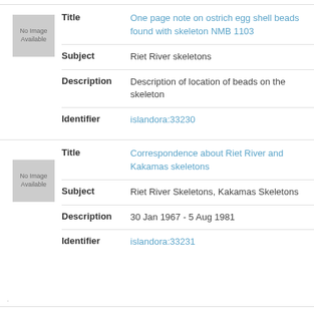| Field | Value |
| --- | --- |
| Title | One page note on ostrich egg shell beads found with skeleton NMB 1103 |
| Subject | Riet River skeletons |
| Description | Description of location of beads on the skeleton |
| Identifier | islandora:33230 |
| Field | Value |
| --- | --- |
| Title | Correspondence about Riet River and Kakamas skeletons |
| Subject | Riet River Skeletons, Kakamas Skeletons |
| Description | 30 Jan 1967 - 5 Aug 1981 |
| Identifier | islandora:33231 |